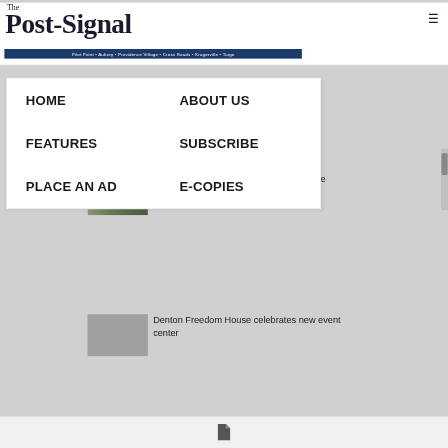The Post-Signal
Pilot Point • Aubrey • Providence Village • Cross Roads • Krugerville • Tioga
HOME
ABOUT US
FEATURES
SUBSCRIBE
PLACE AN AD
E-COPIES
Couple restores Pilot Point Victorian home
Denton Freedom House celebrates new event center